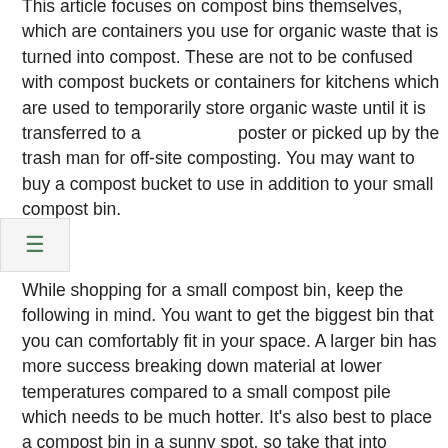This article focuses on compost bins themselves, which are containers you use for organic waste that is turned into compost. These are not to be confused with compost buckets or containers for kitchens which are used to temporarily store organic waste until it is transferred to a composter or picked up by the trash man for off-site composting. You may want to buy a compost bucket to use in addition to your small compost bin.
While shopping for a small compost bin, keep the following in mind. You want to get the biggest bin that you can comfortably fit in your space. A larger bin has more success breaking down material at lower temperatures compared to a small compost pile which needs to be much hotter. It's also best to place a compost bin in a sunny spot, so take that into consideration when you decide how much space you have for a composter. If space is a huge issue because you're an apartment dweller who only has a patio or porch available for